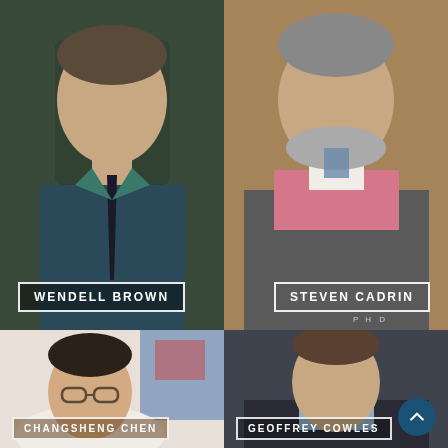[Figure (photo): Headshot of Wendell Brown, man in dark suit and teal shirt with dark tie]
WENDELL BROWN
[Figure (photo): Headshot of Steven Cadrin, man with gray beard wearing pink sweater and colorful tie, PHD]
STEVEN CADRIN
PHD
[Figure (photo): Headshot of Changsheng Chen, Asian man with glasses wearing white polo shirt]
CHANGSHENG CHEN
[Figure (photo): Headshot of Geoffrey Cowles, man in dark blazer and light blue shirt]
GEOFFREY COWLES